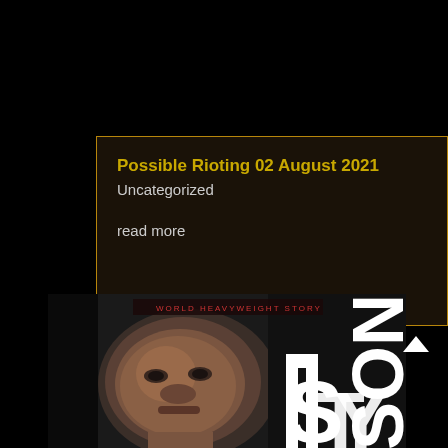Possible Rioting 02 August 2021
Uncategorized
read more
[Figure (photo): Black and white close-up portrait of a man (resembling a boxer), with large white text 'TYSON' partially visible on the right side of the image. Small red text at the top reads 'WORLD HEAVYWEIGHT STORY'.]